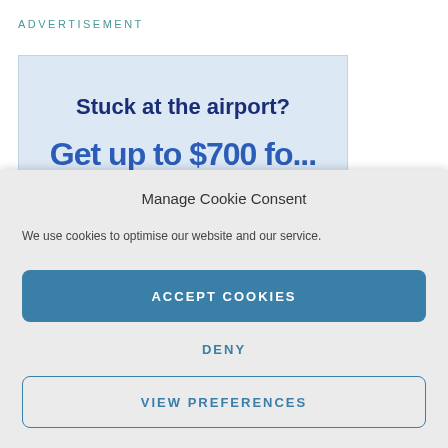ADVERTISEMENT
[Figure (screenshot): Advertisement banner with blue background showing 'Stuck at the airport?' and partially visible text 'Get up to $700 for...']
Manage Cookie Consent
We use cookies to optimise our website and our service.
ACCEPT COOKIES
DENY
VIEW PREFERENCES